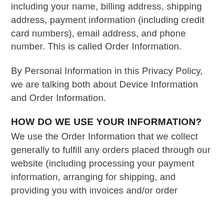including your name, billing address, shipping address, payment information (including credit card numbers), email address, and phone number. This is called Order Information.
By Personal Information in this Privacy Policy, we are talking both about Device Information and Order Information.
HOW DO WE USE YOUR INFORMATION?
We use the Order Information that we collect generally to fulfill any orders placed through our website (including processing your payment information, arranging for shipping, and providing you with invoices and/or order